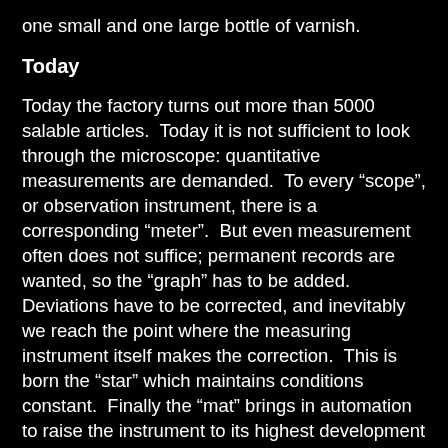one small and one large bottle of varnish.
Today
Today the factory turns out more than 5000 salable articles.  Today it is not sufficient to look through the microscope: quantitative measurements are demanded.  To every “scope”, or observation instrument, there is a corresponding “meter”.  But even measurement often does not suffice; permanent records are wanted, so the “graph” has to be added.  Deviations have to be corrected, and inevitably we reach the point where the measuring instrument itself makes the correction.  This is born the “star” which maintains conditions constant.  Finally the “mat” brings in automation to raise the instrument to its highest development plane.  Such is the long but systematic path from the first great advance in design, the orthoscopic eyepiece, to the fully automatic photomicrographic camera, the Orthomat.